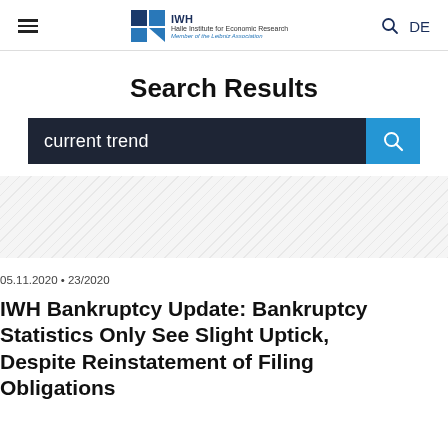IWH – Halle Institute for Economic Research, Member of the Leibniz Association
Search Results
current trend
05.11.2020 • 23/2020
IWH Bankruptcy Update: Bankruptcy Statistics Only See Slight Uptick, Despite Reinstatement of Filing Obligations